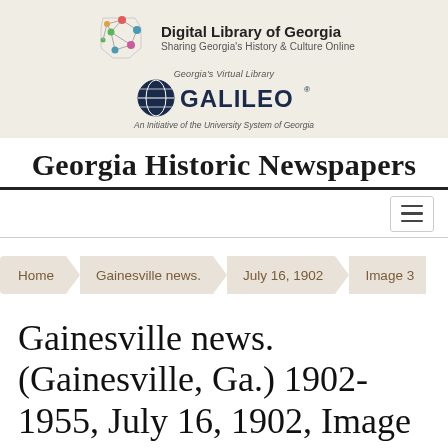[Figure (logo): Digital Library of Georgia logo with network nodes graphic and GALILEO branding]
Georgia Historic Newspapers
Navigation menu bar with hamburger icon
Home > Gainesville news. > July 16, 1902 > Image 3
Gainesville news. (Gainesville, Ga.) 1902-1955, July 16, 1902, Image 3